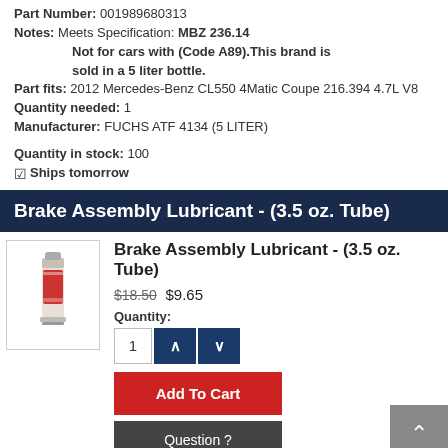Part Number: 001989680313
Notes: Meets Specification: MBZ 236.14
Not for cars with (Code A89).This brand is sold in a 5 liter bottle.
Part fits: 2012 Mercedes-Benz CL550 4Matic Coupe 216.394 4.7L V8
Quantity needed: 1
Manufacturer: FUCHS ATF 4134 (5 LITER)
Quantity in stock: 100
✓Ships tomorrow
Brake Assembly Lubricant - (3.5 oz. Tube)
[Figure (photo): Product image of Brake Assembly Lubricant tube]
Brake Assembly Lubricant - (3.5 oz. Tube)
$18.50 $9.65
Quantity: 1
Add To Cart
Question ?
Part Number: 001989945112
Part fits: 2012 Mercedes-Benz CL550 4Matic Coupe